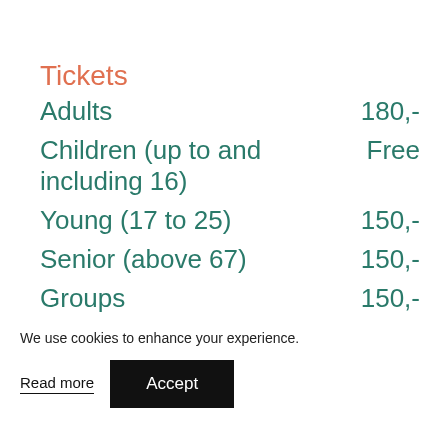Tickets
| Category | Price |
| --- | --- |
| Adults | 180,- |
| Children (up to and including 16) | Free |
| Young (17 to 25) | 150,- |
| Senior (above 67) | 150,- |
| Groups | 150,- |
We use cookies to enhance your experience.
Read more
Accept